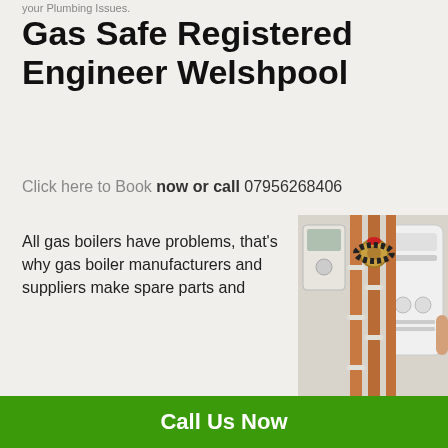your Plumbing Issues.
Gas Safe Registered Engineer Welshpool
Click here to Book now or call 07956268406
[Figure (photo): Photo of a gas boiler installation showing copper pipes and a white wall-mounted boiler unit]
All gas boilers have problems, that's why gas boiler manufacturers and suppliers make spare parts and
Call Us Now